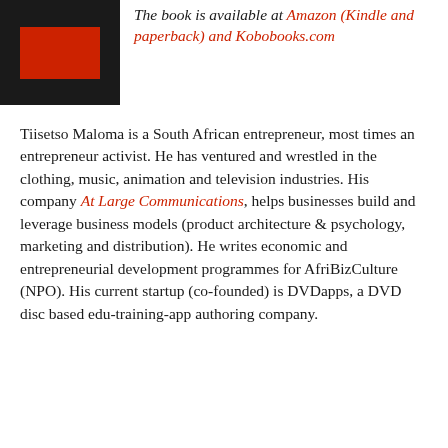[Figure (illustration): Book cover thumbnail — dark/black background with a red rectangle in the center]
The book is available at Amazon (Kindle and paperback) and Kobobooks.com
Tiisetso Maloma is a South African entrepreneur, most times an entrepreneur activist. He has ventured and wrestled in the clothing, music, animation and television industries. His company At Large Communications, helps businesses build and leverage business models (product architecture & psychology, marketing and distribution). He writes economic and entrepreneurial development programmes for AfriBizCulture (NPO). His current startup (co-founded) is DVDapps, a DVD disc based edu-training-app authoring company.